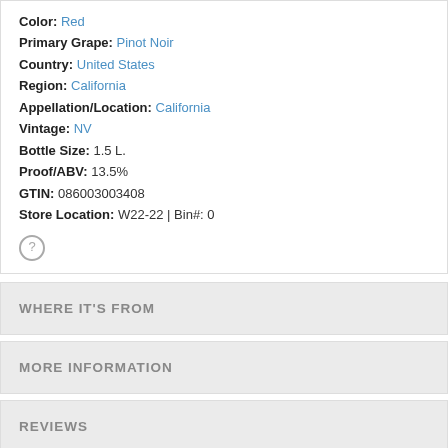Color: Red
Primary Grape: Pinot Noir
Country: United States
Region: California
Appellation/Location: California
Vintage: NV
Bottle Size: 1.5 L.
Proof/ABV: 13.5%
GTIN: 086003003408
Store Location: W22-22 | Bin#: 0
WHERE IT'S FROM
MORE INFORMATION
REVIEWS
RELATED POSTS